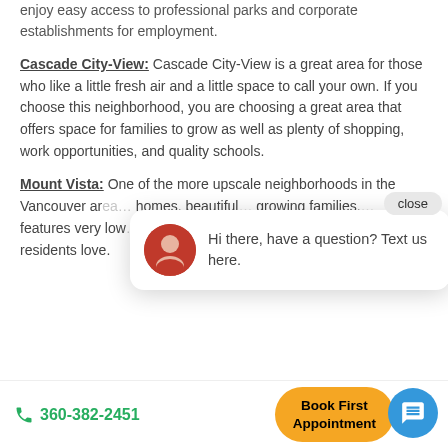enjoy easy access to professional parks and corporate establishments for employment.
Cascade City-View: Cascade City-View is a great area for those who like a little fresh air and a little space to call your own. If you choose this neighborhood, you are choosing a great area that offers space for families to grow as well as plenty of shopping, work opportunities, and quality schools.
Mount Vista: One of the more upscale neighborhoods in the Vancouver area... homes, beautiful... growing families... features very low... residents love.